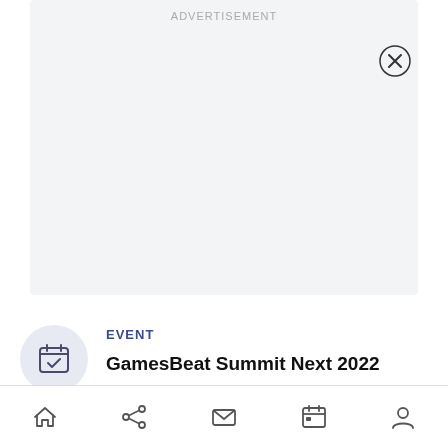[Figure (screenshot): Advertisement placeholder box with light gray background and close (X) button in top-right corner, with 'ADVERTISEMENT' label at top center]
EVENT
GamesBeat Summit Next 2022
[Figure (infographic): Bottom navigation bar with home, share, mail, calendar, and person icons]